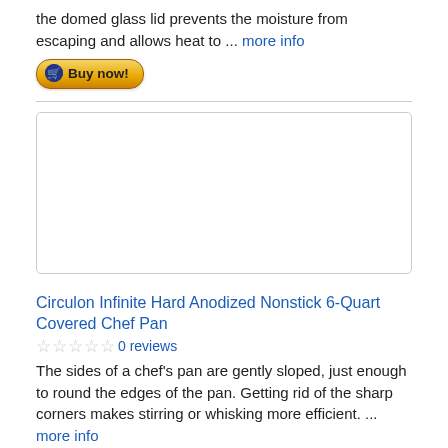the domed glass lid prevents the moisture from escaping and allows heat to ... more info
[Figure (other): Buy now button with shopping cart icon]
[Figure (other): Advertisement box — empty white rectangle with border]
Circulon Infinite Hard Anodized Nonstick 6-Quart Covered Chef Pan
0 reviews
The sides of a chef's pan are gently sloped, just enough to round the edges of the pan. Getting rid of the sharp corners makes stirring or whisking more efficient. ... more info
[Figure (other): Buy now button with shopping cart icon]